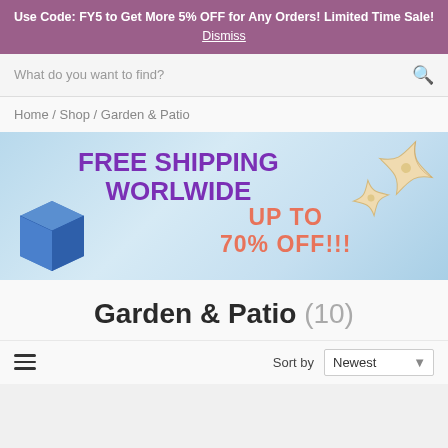Use Code: FY5 to Get More 5% OFF for Any Orders! Limited Time Sale!
Dismiss
What do you want to find?
Home / Shop / Garden & Patio
[Figure (infographic): Promotional banner with light blue water background, blue box icon, starfish decorations, purple bold text 'FREE SHIPPING WORLWIDE' and salmon/coral text 'UP TO 70% OFF!!!']
Garden & Patio (10)
Sort by  Newest